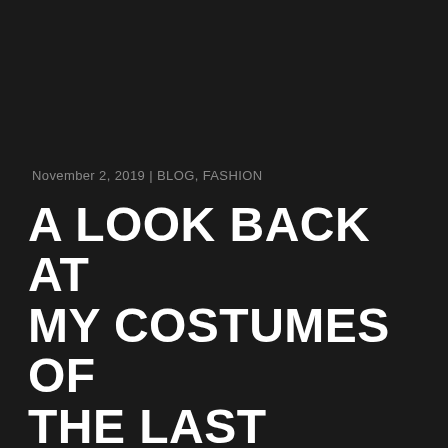November 2, 2019 | BLOG, FASHION
A LOOK BACK AT MY COSTUMES OF THE LAST DECADE OF MY 30S AND 40S